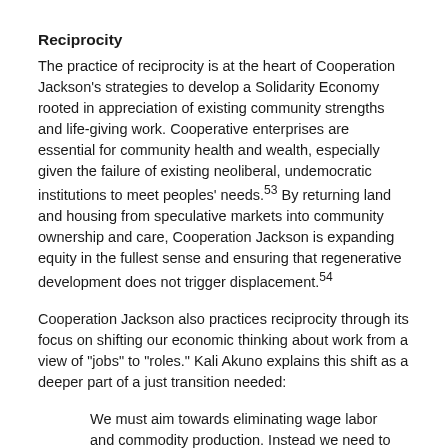Reciprocity
The practice of reciprocity is at the heart of Cooperation Jackson’s strategies to develop a Solidarity Economy rooted in appreciation of existing community strengths and life-giving work. Cooperative enterprises are essential for community health and wealth, especially given the failure of existing neoliberal, undemocratic institutions to meet peoples’ needs.53 By returning land and housing from speculative markets into community ownership and care, Cooperation Jackson is expanding equity in the fullest sense and ensuring that regenerative development does not trigger displacement.54
Cooperation Jackson also practices reciprocity through its focus on shifting our economic thinking about work from a view of “jobs” to “roles.” Kali Akuno explains this shift as a deeper part of a just transition needed:
We must aim towards eliminating wage labor and commodity production. Instead we need to be orienting around recreating roles in our society that are critical to the functioning and the wellbeing of all – instead of jobs ...55